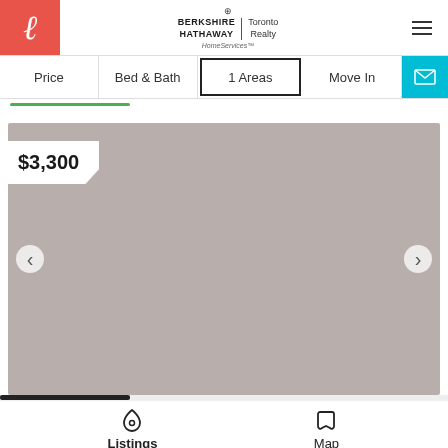[Figure (screenshot): Berkshire Hathaway HomeServices Toronto Realty logo with stylized L icon on red background]
Price | Bed & Bath | 1 Areas | Move In | [email icon]
$3,300
[Figure (photo): Gray placeholder image for a property listing with left and right navigation arrows]
Listings | Map